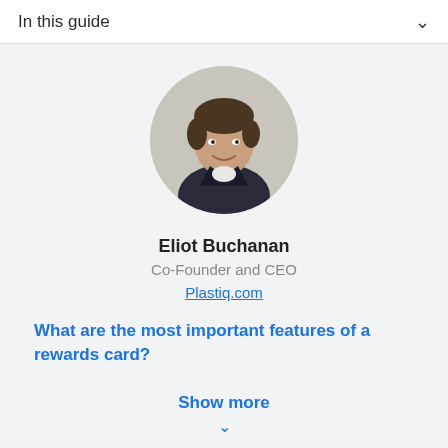In this guide
[Figure (photo): Circular portrait photo of Eliot Buchanan, a young man with dark hair wearing a dark jacket, smiling.]
Eliot Buchanan
Co-Founder and CEO
Plastiq.com
What are the most important features of a rewards card?
Show more